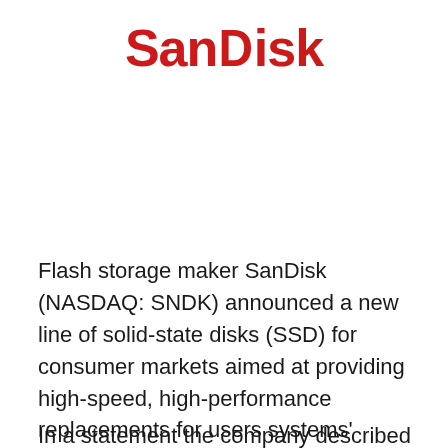[Figure (logo): SanDisk logo in bold red text]
Flash storage maker SanDisk (NASDAQ: SNDK) announced a new line of solid-state disks (SSD) for consumer markets aimed at providing high-speed, high-performance replacements for users systems' existing hard-disk drives (HDD).
In a statement the company described its new